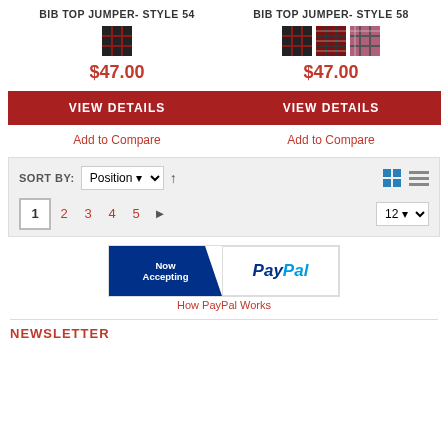BIB TOP JUMPER- STYLE 54
$47.00
VIEW DETAILS
Add to Compare
BIB TOP JUMPER- STYLE 58
$47.00
VIEW DETAILS
Add to Compare
SORT BY: Position
1 2 3 4 5
[Figure (screenshot): Now Accepting PayPal banner]
How PayPal Works
NEWSLETTER